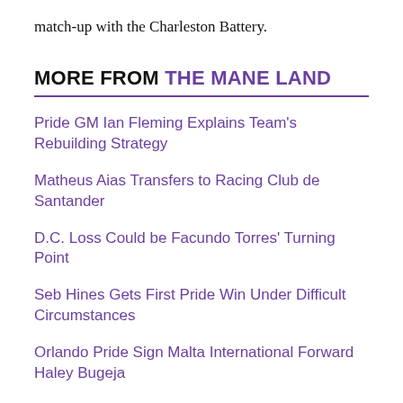match-up with the Charleston Battery.
MORE FROM THE MANE LAND
Pride GM Ian Fleming Explains Team's Rebuilding Strategy
Matheus Aias Transfers to Racing Club de Santander
D.C. Loss Could be Facundo Torres' Turning Point
Seb Hines Gets First Pride Win Under Difficult Circumstances
Orlando Pride Sign Malta International Forward Haley Bugeja
[Figure (infographic): DraftKings Sportsbook betting widget showing ORL vs PHI matchup on 9/10, 11:30p with Bet Now button and DraftKings Sportsbook logo]